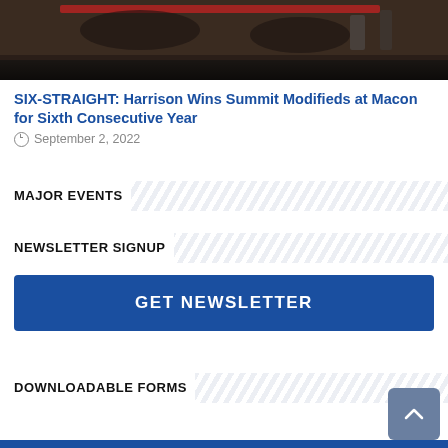[Figure (photo): Bottom portion of a racing photo showing cars and people on a dark dirt track surface]
SIX-STRAIGHT: Harrison Wins Summit Modifieds at Macon for Sixth Consecutive Year
September 2, 2022
MAJOR EVENTS
NEWSLETTER SIGNUP
GET NEWSLETTER
DOWNLOADABLE FORMS